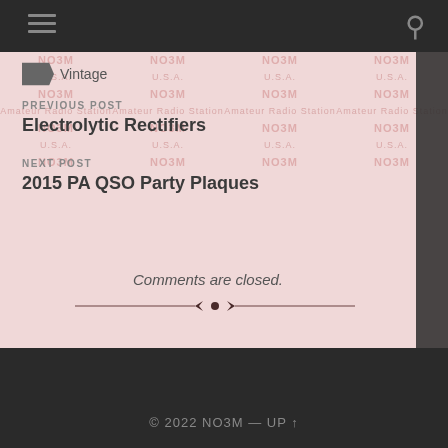Vintage
PREVIOUS POST
Electrolytic Rectifiers
NEXT POST
2015 PA QSO Party Plaques
Comments are closed.
© 2022 NO3M — UP ↑